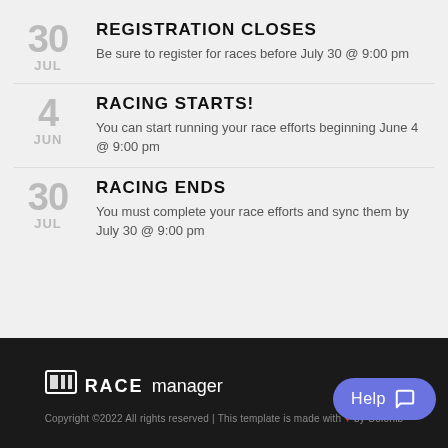30 JUL — REGISTRATION CLOSES: Be sure to register for races before July 30 @ 9:00 pm
4 JUN — RACING STARTS!: You can start running your race efforts beginning June 4 @ 9:00 pm
30 JUL — RACING ENDS: You must complete your race efforts and sync them by July 30 @ 9:00 pm
RaceManager — Copyright ©2022 All rights reserved | This template is made with ♥ by Colorlib